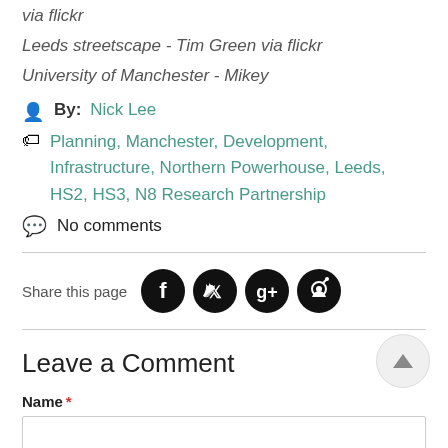via flickr
Leeds streetscape - Tim Green via flickr
University of Manchester - Mikey
By: Nick Lee
Planning, Manchester, Development, Infrastructure, Northern Powerhouse, Leeds, HS2, HS3, N8 Research Partnership
No comments
Share this page
Leave a Comment
Name *
Email *